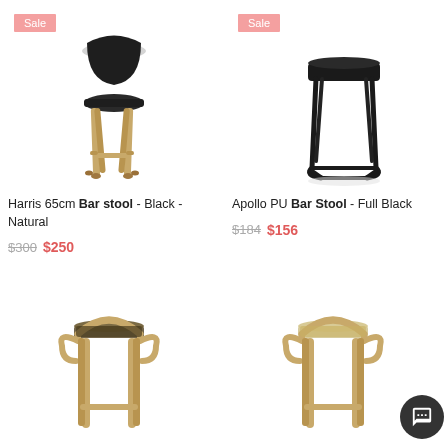[Figure (photo): Harris 65cm Bar stool - Black seat with natural wood legs, sale badge top left]
Harris 65cm Bar stool - Black - Natural
$300 $250
[Figure (photo): Apollo PU Bar Stool - Full Black, black metal frame with black seat, sale badge top left]
Apollo PU Bar Stool - Full Black
$184 $156
[Figure (photo): Wooden bar stool with arms, natural wood frame, dark seat - bottom left]
[Figure (photo): Wooden bar stool with arms, natural wood frame, woven/light seat - bottom right]